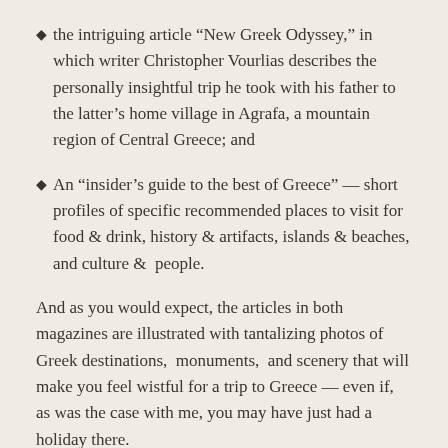the intriguing article “New Greek Odyssey,” in which writer Christopher Vourlias describes the personally insightful trip he took with his father to the latter’s home village in Agrafa, a mountain region of Central Greece; and
An “insider’s guide to the best of Greece” — short profiles of specific recommended places to visit for food & drink, history & artifacts, islands & beaches, and culture &  people.
And as you would expect, the articles in both magazines are illustrated with tantalizing photos of Greek destinations,  monuments,  and scenery that will make you feel wistful for a trip to Greece — even if, as was the case with me, you may have just had a holiday there.